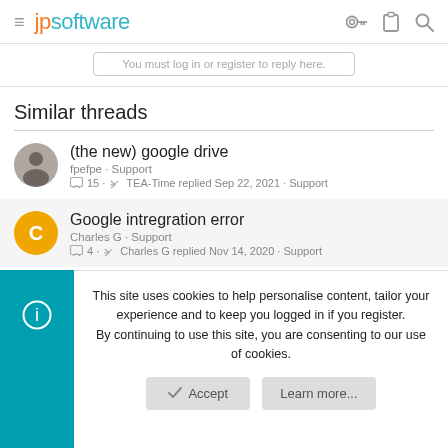jpsoftware
You must log in or register to reply here.
Similar threads
(the new) google drive
fpefpe · Support
💬 15 · ↩ TEA-Time replied Sep 22, 2021 · Support
Google intregration error
Charles G · Support
💬 4 · ↩ Charles G replied Nov 14, 2020 · Support
This site uses cookies to help personalise content, tailor your experience and to keep you logged in if you register.
By continuing to use this site, you are consenting to our use of cookies.
Accept
Learn more...